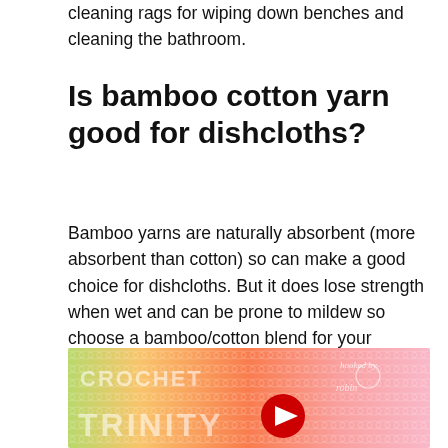cleaning rags for wiping down benches and cleaning the bathroom.
Is bamboo cotton yarn good for dishcloths?
Bamboo yarns are naturally absorbent (more absorbent than cotton) so can make a good choice for dishcloths. But it does lose strength when wet and can be prone to mildew so choose a bamboo/cotton blend for your dishcloths.
[Figure (screenshot): YouTube video thumbnail showing crochet fabric in rainbow gradient colors with text 'CROCHET TRINITY' and a YouTube play button, watermarked 'hooked by robin']